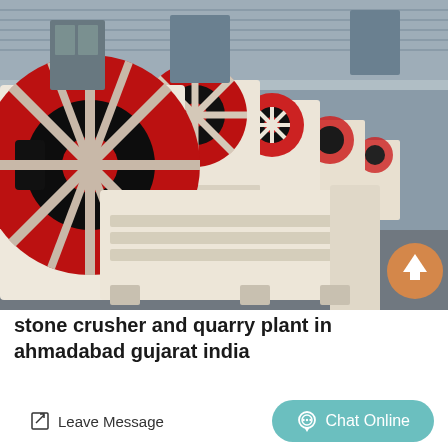[Figure (photo): A row of industrial jaw crusher machines with large red and black flywheels and cream/white bodies lined up in a factory/warehouse setting. Multiple units are visible receding into the background.]
stone crusher and quarry plant in ahmadabad gujarat india
Leave Message
Chat Online